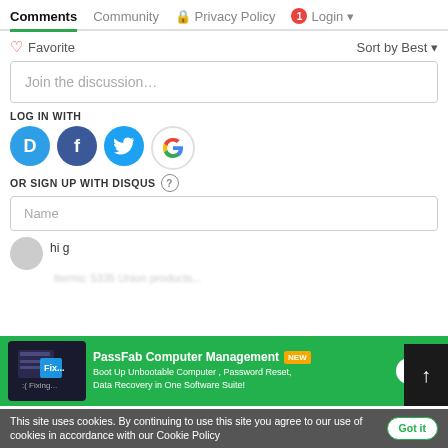Comments  Community  Privacy Policy  1 Login  Sort by Best
♡ Favorite
Join the discussion...
LOG IN WITH
[Figure (illustration): Four social login icons: Disqus (blue D), Facebook (dark blue f), Twitter (blue bird), Google (red G)]
OR SIGN UP WITH DISQUS ?
Name
hi g
[Figure (screenshot): PassFab Computer Management advertisement banner with green background. Shows product logo, title 'PassFab Computer Management NEW', description 'Boot Up Unbootable Computer, Password Reset, Data Recovery in One Software Suite!' and a forward arrow button.]
This site uses cookies. By continuing to use this site you agree to our use of cookies in accordance with our Cookie Policy  Got it
Reply